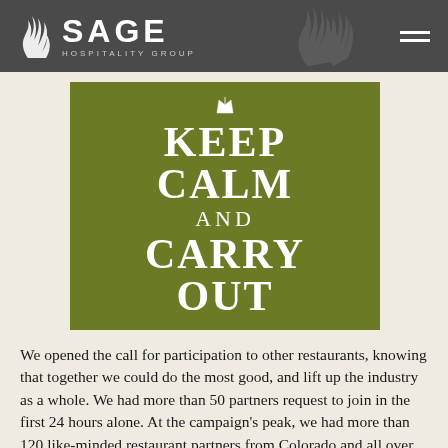SAGE HOSPITALITY GROUP
[Figure (illustration): Keep Calm and Carry Out poster in olive/army green with white text and a small crown icon at the top]
We opened the call for participation to other restaurants, knowing that together we could do the most good, and lift up the industry as a whole. We had more than 50 partners request to join in the first 24 hours alone. At the campaign's peak, we had more than 120 like-minded restaurant partners from Colorado and all over the nation.